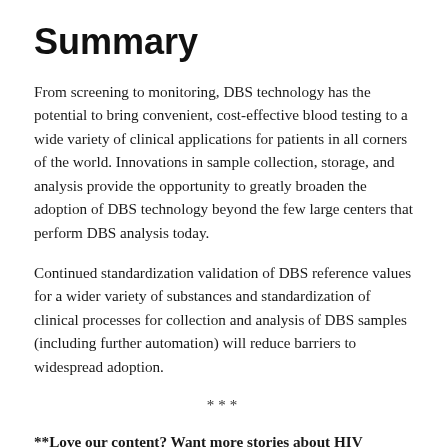Summary
From screening to monitoring, DBS technology has the potential to bring convenient, cost-effective blood testing to a wide variety of clinical applications for patients in all corners of the world. Innovations in sample collection, storage, and analysis provide the opportunity to greatly broaden the adoption of DBS technology beyond the few large centers that perform DBS analysis today.
Continued standardization validation of DBS reference values for a wider variety of substances and standardization of clinical processes for collection and analysis of DBS samples (including further automation) will reduce barriers to widespread adoption.
***
**Love our content? Want more stories about HIV